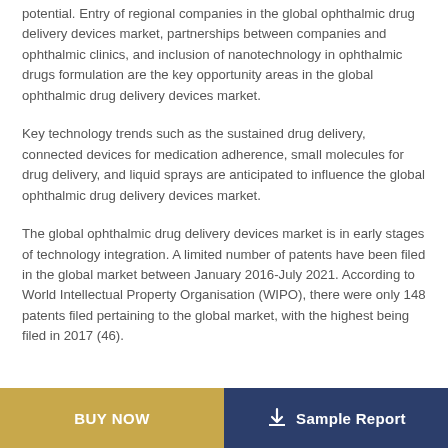potential. Entry of regional companies in the global ophthalmic drug delivery devices market, partnerships between companies and ophthalmic clinics, and inclusion of nanotechnology in ophthalmic drugs formulation are the key opportunity areas in the global ophthalmic drug delivery devices market.
Key technology trends such as the sustained drug delivery, connected devices for medication adherence, small molecules for drug delivery, and liquid sprays are anticipated to influence the global ophthalmic drug delivery devices market.
The global ophthalmic drug delivery devices market is in early stages of technology integration. A limited number of patents have been filed in the global market between January 2016-July 2021. According to World Intellectual Property Organisation (WIPO), there were only 148 patents filed pertaining to the global market, with the highest being filed in 2017 (46).